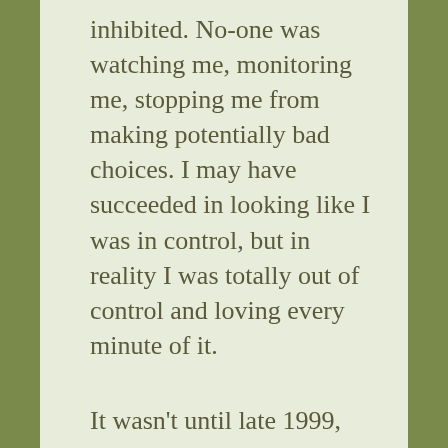inhibited. No-one was watching me, monitoring me, stopping me from making potentially bad choices. I may have succeeded in looking like I was in control, but in reality I was totally out of control and loving every minute of it.
It wasn't until late 1999, early 2000, that I would eventually grind to a